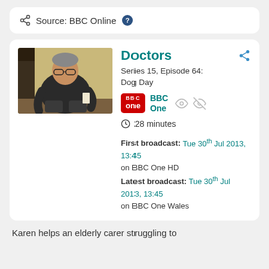Source: BBC Online ?
Doctors
Series 15, Episode 64: Dog Day
BBC One
28 minutes
First broadcast: Tue 30th Jul 2013, 13:45 on BBC One HD
Latest broadcast: Tue 30th Jul 2013, 13:45 on BBC One Wales
Karen helps an elderly carer struggling to
[Figure (photo): A middle-aged man wearing glasses and a dark sweater, sitting in a chair in a room with yellow walls, holding something in his hand.]